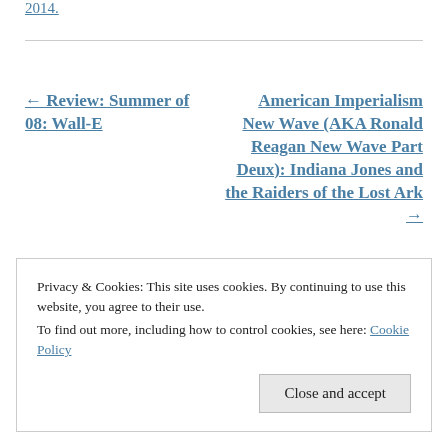2014.
← Review: Summer of 08: Wall-E
American Imperialism New Wave (AKA Ronald Reagan New Wave Part Deux): Indiana Jones and the Raiders of the Lost Ark →
Privacy & Cookies: This site uses cookies. By continuing to use this website, you agree to their use.
To find out more, including how to control cookies, see here: Cookie Policy
Close and accept